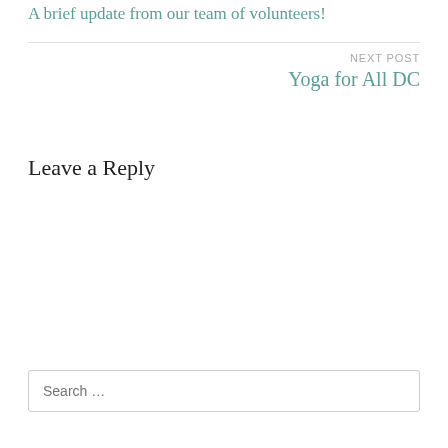A brief update from our team of volunteers!
NEXT POST
Yoga for All DC
Leave a Reply
Search …